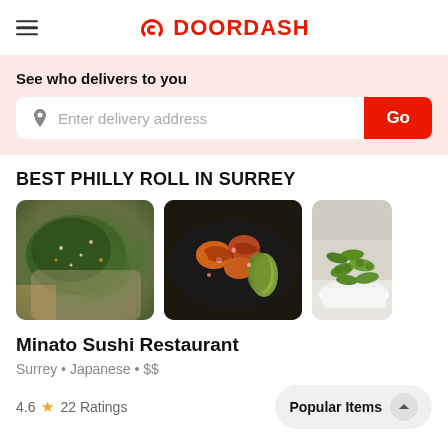DOORDASH
See who delivers to you
Enter delivery address
BEST PHILLY ROLL IN SURREY
[Figure (photo): Three food photos: seaweed salad, glazed sushi rolls on dark plate, edamame in bowl]
Minato Sushi Restaurant
Surrey • Japanese • $$
4.6 ★ 22 Ratings
Popular Items